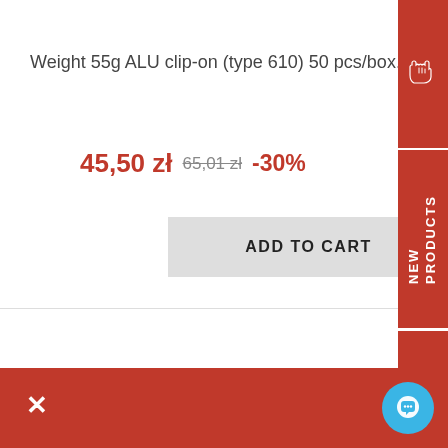Weight 55g ALU clip-on (type 610) 50 pcs/box.
45,50 zł  65,01 zł  -30%
ADD TO CART
[Figure (illustration): Red tab with gloves/hands icon on the right side]
NEW PRODUCTS
PROMOTION OF THE WEEK
SA
×
[Figure (illustration): Blue circular chat button with speech bubble icon]